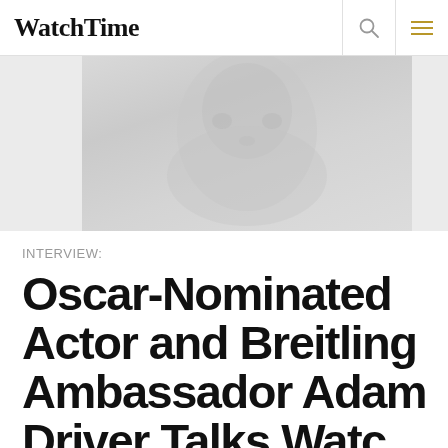WatchTime
[Figure (photo): Blurred/faded photo of a person, likely Adam Driver, shown from approximately chest up. The image is very light and desaturated, with gray tones.]
INTERVIEW:
Oscar-Nominated Actor and Breitling Ambassador Adam Driver Talks Watc...